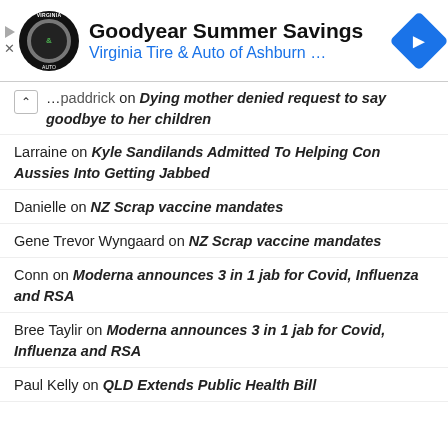[Figure (screenshot): Advertisement banner for Goodyear Summer Savings - Virginia Tire & Auto of Ashburn with logo and navigation arrow]
...paddrick on Dying mother denied request to say goodbye to her children
Larraine on Kyle Sandilands Admitted To Helping Con Aussies Into Getting Jabbed
Danielle on NZ Scrap vaccine mandates
Gene Trevor Wyngaard on NZ Scrap vaccine mandates
Conn on Moderna announces 3 in 1 jab for Covid, Influenza and RSA
Bree Taylir on Moderna announces 3 in 1 jab for Covid, Influenza and RSA
Paul Kelly on QLD Extends Public Health Bill